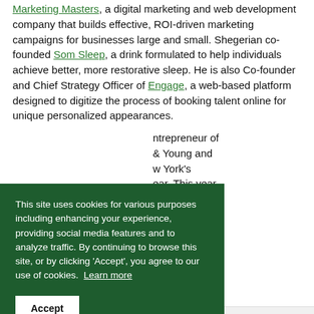Marketing Masters, a digital marketing and web development company that builds effective, ROI-driven marketing campaigns for businesses large and small. Shegerian co-founded Som Sleep, a drink formulated to help individuals achieve better, more restorative sleep. He is also Co-founder and Chief Strategy Officer of Engage, a web-based platform designed to digitize the process of booking talent online for unique personalized appearances.
...ntrepreneur of ... & Young and ...w York's ...ear. This year, ...yond"
This site uses cookies for various purposes including enhancing your experience, providing social media features and to analyze traffic. By continuing to browse this site, or by clicking 'Accept', you agree to our use of cookies. Learn more